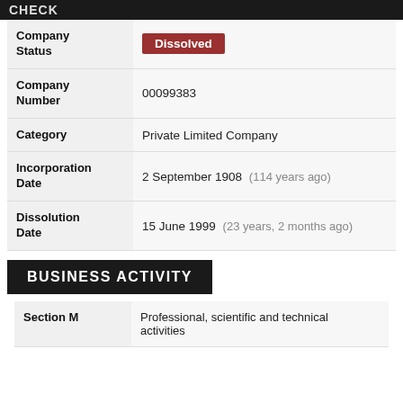CHECK
| Field | Value |
| --- | --- |
| Company Status | Dissolved |
| Company Number | 00099383 |
| Category | Private Limited Company |
| Incorporation Date | 2 September 1908 (114 years ago) |
| Dissolution Date | 15 June 1999 (23 years, 2 months ago) |
BUSINESS ACTIVITY
| Field | Value |
| --- | --- |
| Section M | Professional, scientific and technical activities |